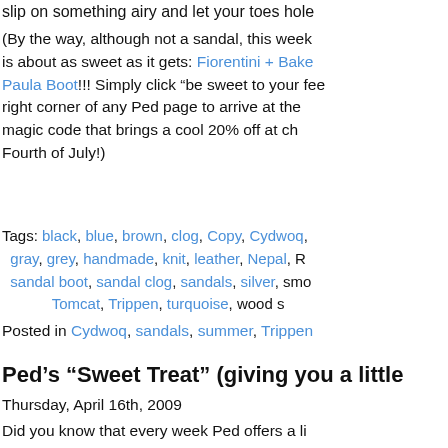slip on something airy and let your toes hole …
(By the way, although not a sandal, this week is about as sweet as it gets: Fiorentini + Bake Paula Boot!!! Simply click “be sweet to your fee right corner of any Ped page to arrive at the magic code that brings a cool 20% off at ch Fourth of July!)
Tags: black, blue, brown, clog, Copy, Cydwoq, gray, grey, handmade, knit, leather, Nepal, R sandal boot, sandal clog, sandals, silver, smo Tomcat, Trippen, turquoise, wood s
Posted in Cydwoq, sandals, summer, Trippen
Ped’s “Sweet Treat” (giving you a little
Thursday, April 16th, 2009
Did you know that every week Ped offers a li